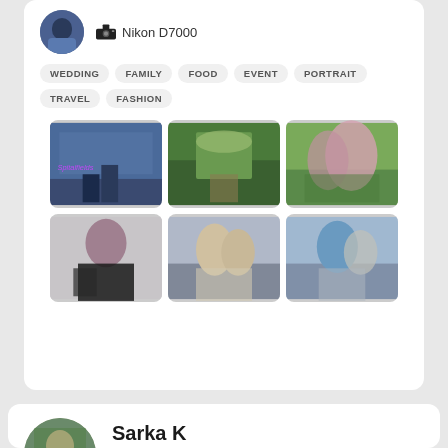[Figure (screenshot): Profile card top section showing avatar, Nikon D7000 camera info, category tags (WEDDING, FAMILY, FOOD, EVENT, PORTRAIT, TRAVEL, FASHION), and a 2x3 grid of photography portfolio thumbnails]
Nikon D7000
WEDDING
FAMILY
FOOD
EVENT
PORTRAIT
TRAVEL
FASHION
Sarka K
40 shoots
Canon EOS 6D